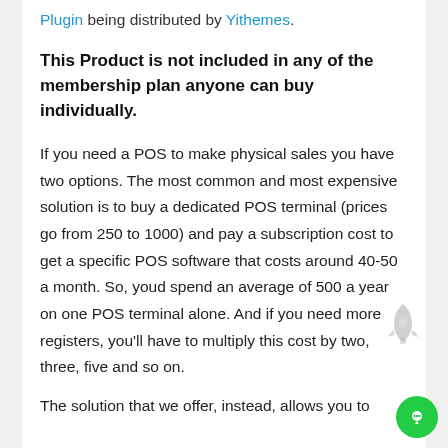Plugin being distributed by Yithemes.
This Product is not included in any of the membership plan anyone can buy individually.
If you need a POS to make physical sales you have two options. The most common and most expensive solution is to buy a dedicated POS terminal (prices go from 250 to 1000) and pay a subscription cost to get a specific POS software that costs around 40-50 a month. So, youd spend an average of 500 a year on one POS terminal alone. And if you need more registers, you'll have to multiply this cost by two, three, five and so on.
The solution that we offer, instead, allows you to